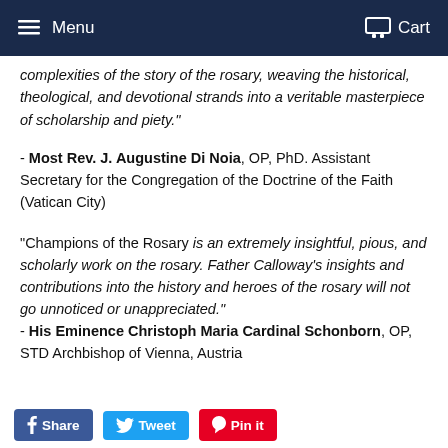Menu  Cart
complexities of the story of the rosary, weaving the historical, theological, and devotional strands into a veritable masterpiece of scholarship and piety."
- Most Rev. J. Augustine Di Noia, OP, PhD. Assistant Secretary for the Congregation of the Doctrine of the Faith (Vatican City)
"Champions of the Rosary is an extremely insightful, pious, and scholarly work on the rosary. Father Calloway's insights and contributions into the history and heroes of the rosary will not go unnoticed or unappreciated." - His Eminence Christoph Maria Cardinal Schonborn, OP, STD Archbishop of Vienna, Austria